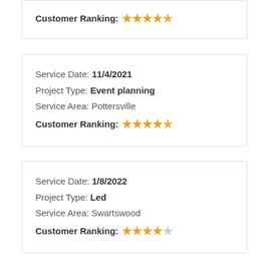Customer Ranking: ★★★★☆ (4.5 stars)
Service Date: 11/4/2021
Project Type: Event planning
Service Area: Pottersville
Customer Ranking: ★★★★☆ (4.5 stars)
Service Date: 1/8/2022
Project Type: Led
Service Area: Swartswood
Customer Ranking: ★★★★☆ (4 stars)